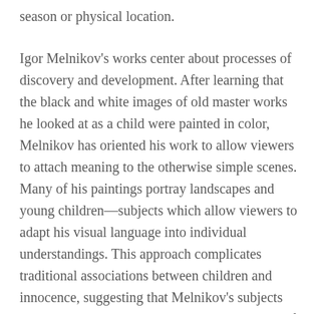season or physical location.
Igor Melnikov's works center about processes of discovery and development. After learning that the black and white images of old master works he looked at as a child were painted in color, Melnikov has oriented his work to allow viewers to attach meaning to the otherwise simple scenes. Many of his paintings portray landscapes and young children—subjects which allow viewers to adapt his visual language into individual understandings. This approach complicates traditional associations between children and innocence, suggesting that Melnikov's subjects are at once dynamic and open to a broad range of interpretations. Melnikov's work also focuses on emotion—reworking feelings such as tragedy and happiness. He